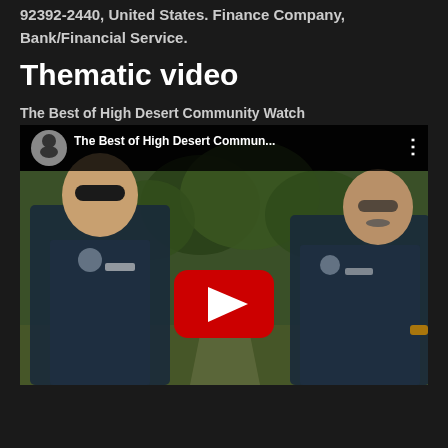92392-2440, United States. Finance Company, Bank/Financial Service.
Thematic video
The Best of High Desert Community Watch
[Figure (screenshot): YouTube video thumbnail showing two men in dark police/security uniforms standing outdoors on a tree-lined walkway. The video title bar reads 'The Best of High Desert Commun...' with a channel avatar. A large red YouTube play button is centered on the image.]